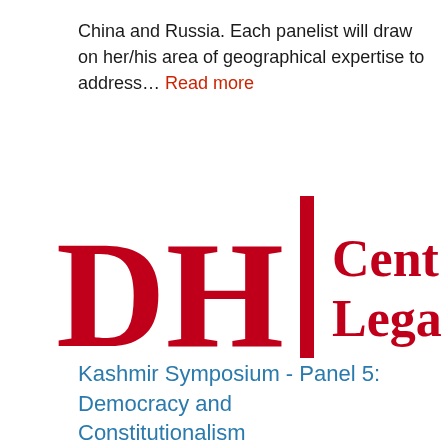China and Russia. Each panelist will draw on her/his area of geographical expertise to address… Read more
[Figure (logo): Partial logo showing letters 'DHI' in large bold red serif font with a vertical bar separator, followed by partial text 'Cent' and 'Lega' in red serif font, cropped at right edge]
Kashmir Symposium - Panel 5: Democracy and Constitutionalism